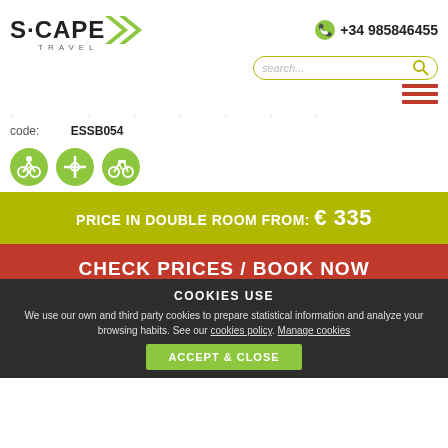[Figure (logo): S·CAPE TRAVEL logo with green arrow chevrons]
+34 985846455
[Figure (other): Search bar with rounded border and search icon]
[Figure (other): Hamburger menu icon with three red horizontal bars]
. . . . . . . . . .
code: ESSB054
[Figure (other): Three green circle icons: cycling, waypoint, bicycle]
PRICE IN DOUBLE ROOM FROM: € 335
CHECK PRICES / BOOK NOW
A taste of the Northern Way
COOKIES USE
We use our own and third party cookies to prepare statistical information and analyze your browsing habits. See our cookies policy. Manage cookies
A taste of España Verde (Green Spain)
Mountainous and cycling-friendly routes
Comfortable and charming accommodations